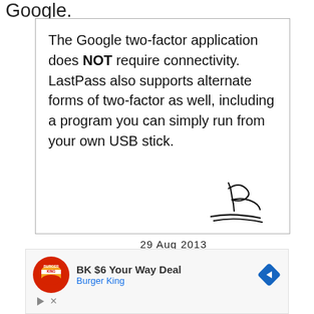Google.
The Google two-factor application does NOT require connectivity. LastPass also supports alternate forms of two-factor as well, including a program you can simply run from your own USB stick.
[Figure (other): Handwritten signature in black ink]
[Figure (other): Burger King advertisement: BK $6 Your Way Deal with Burger King logo and navigation arrow icon]